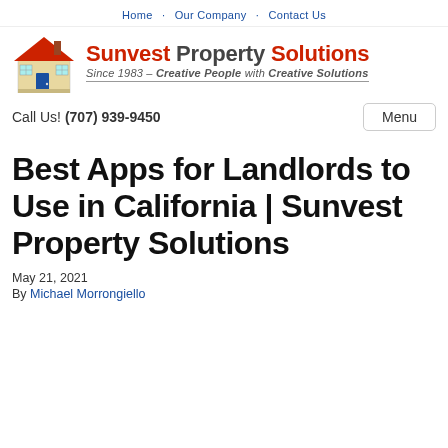Home  Our Company  Contact Us
[Figure (logo): Sunvest Property Solutions logo: house illustration on left, company name in red and dark gray bold text, tagline 'Since 1983 – Creative People with Creative Solutions' in italic]
Call Us! (707) 939-9450
Best Apps for Landlords to Use in California | Sunvest Property Solutions
May 21, 2021
By Michael Morrongiello